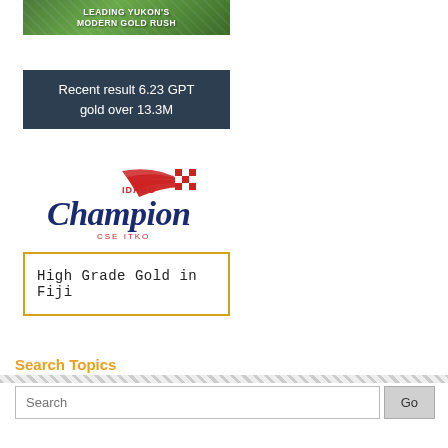[Figure (illustration): Banner advertisement with green background and hiker/mountain imagery. Text reads 'LEADING YUKON'S MODERN GOLD RUSH']
[Figure (infographic): Dark blue/navy box with white text: 'Recent result 6.23 GPT gold over 13.3M']
[Figure (logo): Idaho Champion logo with red swoosh/flag design and 'IDAHO Champion CSE ITKO' text in navy and red]
[Figure (infographic): Yellow-bordered box with text 'High Grade Gold in Fiji']
Search Topics
Search